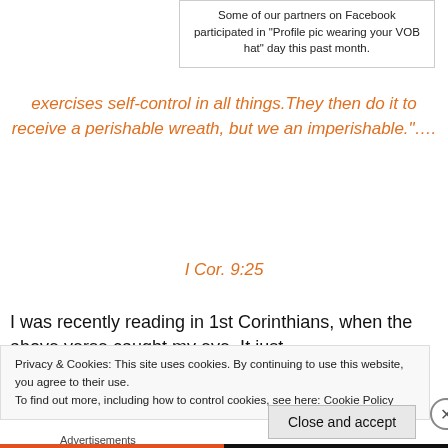Some of our partners on Facebook participated in “Profile pic wearing your VOB hat” day this past month.
exercises self-control in all things.They then do it to receive a perishable wreath, but we an imperishable.”....
I Cor. 9:25
I was recently reading in 1st Corinthians, when the above verse caught my eye. It just
Privacy & Cookies: This site uses cookies. By continuing to use this website, you agree to their use.
To find out more, including how to control cookies, see here: Cookie Policy
Close and accept
Advertisements